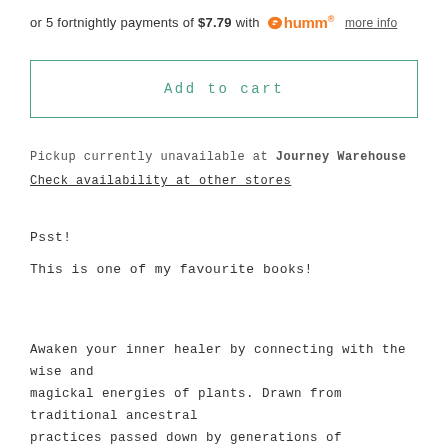or 5 fortnightly payments of $7.79 with humm more info
Add to cart
Pickup currently unavailable at Journey Warehouse
Check availability at other stores
Psst!
This is one of my favourite books!
Awaken your inner healer by connecting with the wise and magickal energies of plants. Drawn from traditional ancestral practices passed down by generations of indigenous teachers,